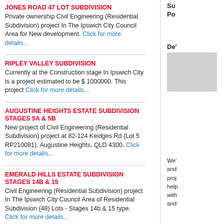JONES ROAD 47 LOT SUBDIVISION
Private ownership Civil Engineering (Residential Subdivision) project In The Ipswich City Council Area for New development. Click for more details...
RIPLEY VALLEY SUBDIVISION
Currently at the Construction stage In Ipswich City is a project estimated to be $ 1000000. This project Click for more details...
AUGUSTINE HEIGHTS ESTATE SUBDIVISION STAGES 5A & 5B
New project of Civil Engineering (Residential Subdivision) project at 82-124 Keidges Rd (Lot 5 RP210081), Augustine Heights, QLD 4300. Click for more details...
EMERALD HILLS ESTATE SUBDIVISION STAGES 14B & 15
Civil Engineering (Residential Subdivision) project In The Ipswich City Council Area of Residential Subdivision (48) Lots - Stages 14b & 15 type. Click for more details...
RIPLEY VALLEY RESIDENTIAL SUBDIVISION
New project of Civil Engineering (Residential Subdivision) project at 15 Acacia Lane, Ripley Rd & Fischer Rd, Ripley, QLD 4306. Click for more details...
WILDFLOWER RIDGE ESTATE SUBDIVISION STAGE 6
Civil Engineering (Residential Subdivision) project In The Ipswich City Council Area of Residential Subdivison (40) Lots - Stages 6 type. Click for more details...
BRENTWOOD FOREST ESTATE SUBDIVISION STAGE 7
Private ownership Civil Engineering (Residential Subdivision) project In The Ipswich City Council Area for New development. Click for more
Po
De'
We'
and
proj
help
with
and